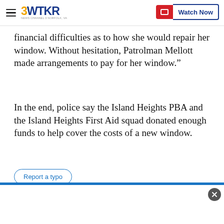3WTKR
financial difficulties as to how she would repair her window. Without hesitation, Patrolman Mellott made arrangements to pay for her window.”
In the end, police say the Island Heights PBA and the Island Heights First Aid squad donated enough funds to help cover the costs of a new window.
Report a typo
Copyright 2022 Scripps Media, Inc. All rights reserved. This material may not be published, broadcast, rewritten, or redistributed.